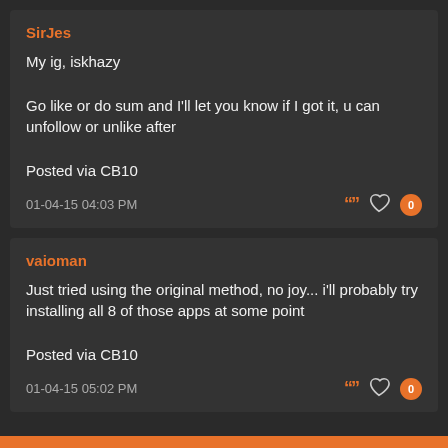SirJes
My ig, iskhazy

Go like or do sum and I'll let you know if I got it, u can unfollow or unlike after

Posted via CB10
01-04-15 04:03 PM
vaioman
Just tried using the original method, no joy... i'll probably try installing all 8 of those apps at some point

Posted via CB10
01-04-15 05:02 PM